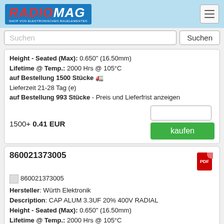RADIOMAG - SHOP VON ELEKTRONISCHEN BAUELEMENTEN
Suchen
Height - Seated (Max): 0.650" (16.50mm)
Lifetime @ Temp.: 2000 Hrs @ 105°C
auf Bestellung 1500 Stücke
Lieferzeit 21-28 Tag (e)
auf Bestellung 993 Stücke - Preis und Lieferfrist anzeigen
1500+ 0.41 EUR
kaufen
860021373005
Hersteller: Würth Elektronik
Description: CAP ALUM 3.3UF 20% 400V RADIAL
Height - Seated (Max): 0.650" (16.50mm)
Lifetime @ Temp.: 2000 Hrs @ 105°C
Lead Spacing: 0.098" (2.50mm)
Applications: General Purpose
Operating Temperature: -25°C ~ 105°C
Ripple Current @ High Frequency: 59.5 mA @ 100 kHz
Mounting Type: Through Hole